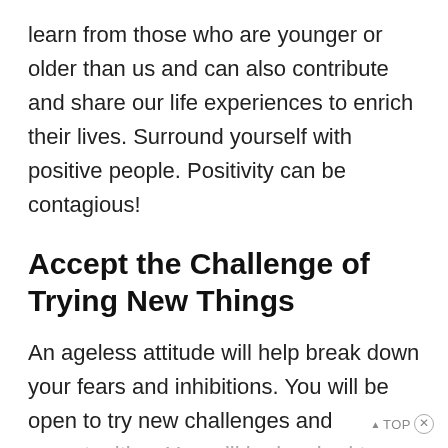learn from those who are younger or older than us and can also contribute and share our life experiences to enrich their lives. Surround yourself with positive people. Positivity can be contagious!
Accept the Challenge of Trying New Things
An ageless attitude will help break down your fears and inhibitions. You will be open to try new challenges and opportunities. You will be inspired to make